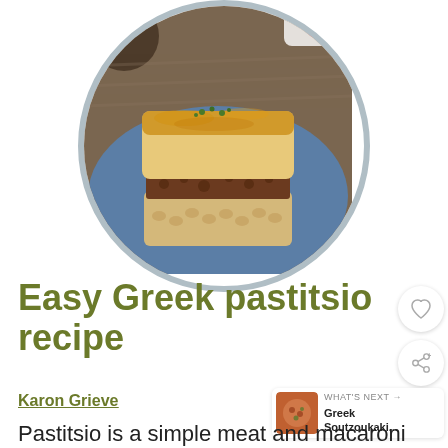[Figure (photo): Circular cropped photo of a serving of Greek pastitsio on a blue plate — layers of tube pasta and meat sauce topped with golden baked béchamel, garnished with green herbs, on a wooden table background]
Easy Greek pastitsio recipe
Karon Grieve
WHAT'S NEXT → Greek Soutzoukaki...
Pastitsio is a simple meat and macaroni